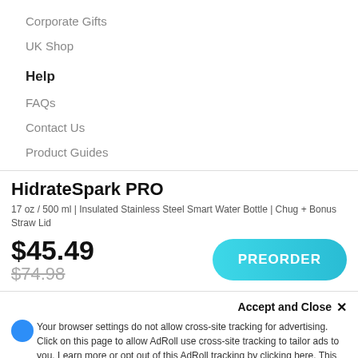Corporate Gifts
UK Shop
Help
FAQs
Contact Us
Product Guides
HidrateSpark PRO
17 oz / 500 ml | Insulated Stainless Steel Smart Water Bottle | Chug + Bonus Straw Lid
$45.49
$74.98
PREORDER
Accept and Close ×
Your browser settings do not allow cross-site tracking for advertising. Click on this page to allow AdRoll use cross-site tracking to tailor ads to you. Learn more or opt out of this AdRoll tracking by clicking here. This message only appears once.